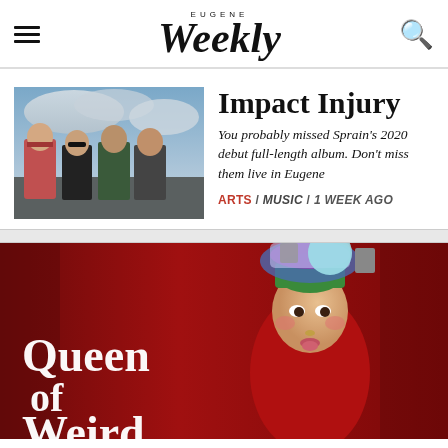EUGENE Weekly
Impact Injury
You probably missed Sprain's 2020 debut full-length album. Don't miss them live in Eugene
ARTS / MUSIC / 1 WEEK AGO
[Figure (photo): Photo of a band — four young people standing outdoors against a cloudy sky background]
[Figure (photo): Promotional banner image for 'Queen of Weird' — person with green hair wearing colorful headpiece against a red background, with large white text reading 'Queen of Weird']